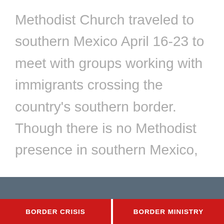Methodist Church traveled to southern Mexico April 16-23 to meet with groups working with immigrants crossing the country's southern border. Though there is no Methodist presence in southern Mexico,
CONTINUE READING ›
[Figure (photo): Bottom section showing a dark blue-gray photo background with two red banner labels reading BORDER CRISIS and BORDER MINISTRY]